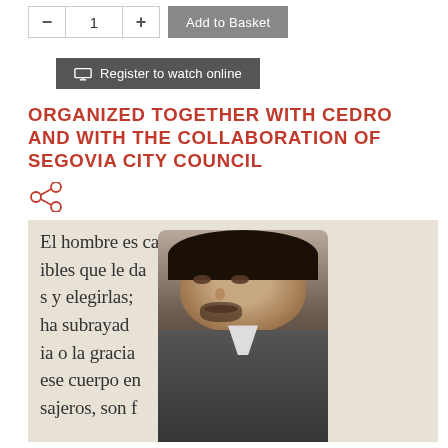[Figure (other): Quantity selector with minus button, number 1, plus button, and Add to Basket button]
[Figure (other): Register to watch online button with monitor icon]
ORGANIZED TOGETHER WITH CEDRO AND WITH THE COLLABORATION OF SEGOVIA CITY COUNCIL
[Figure (other): Share icon (connected circles)]
[Figure (photo): Photo of a man with dark hair in a suit jacket, overlaid on a background with Spanish text about the human body]